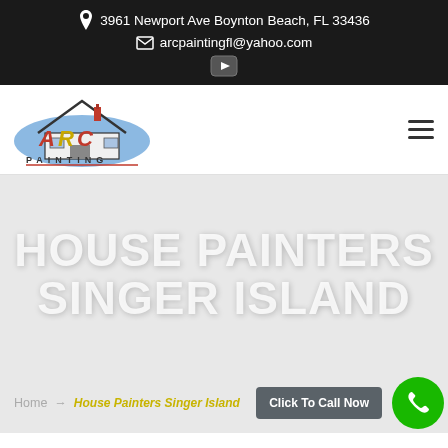3961 Newport Ave Boynton Beach, FL 33436 | arcpaintingfl@yahoo.com
[Figure (logo): ARC Painting company logo with house roofline and stylized ARC lettering in red, gold, blue with PAINTING text below]
HOUSE PAINTERS SINGER ISLAND
Click To Call Now
Home → House Painters Singer Island